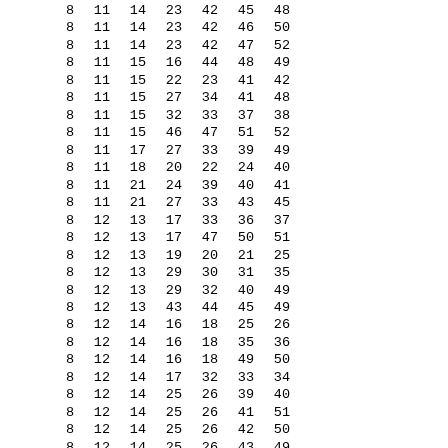| 8 | 11 | 14 | 23 | 42 | 45 | 48 |
| 8 | 11 | 14 | 23 | 42 | 46 | 50 |
| 8 | 11 | 14 | 23 | 42 | 47 | 52 |
| 8 | 11 | 15 | 16 | 44 | 48 | 49 |
| 8 | 11 | 15 | 22 | 23 | 41 | 42 |
| 8 | 11 | 15 | 27 | 34 | 41 | 48 |
| 8 | 11 | 15 | 32 | 33 | 37 | 38 |
| 8 | 11 | 15 | 46 | 47 | 51 | 52 |
| 8 | 11 | 17 | 27 | 33 | 39 | 49 |
| 8 | 11 | 18 | 20 | 22 | 24 | 40 |
| 8 | 11 | 21 | 24 | 39 | 40 | 41 |
| 8 | 11 | 21 | 27 | 33 | 43 | 45 |
| 8 | 12 | 13 | 17 | 33 | 36 | 37 |
| 8 | 12 | 13 | 17 | 47 | 50 | 51 |
| 8 | 12 | 13 | 19 | 20 | 21 | 25 |
| 8 | 12 | 13 | 29 | 30 | 31 | 35 |
| 8 | 12 | 13 | 29 | 32 | 40 | 49 |
| 8 | 12 | 13 | 43 | 44 | 45 | 49 |
| 8 | 12 | 14 | 16 | 18 | 25 | 26 |
| 8 | 12 | 14 | 16 | 18 | 35 | 36 |
| 8 | 12 | 14 | 16 | 18 | 49 | 50 |
| 8 | 12 | 14 | 17 | 32 | 33 | 34 |
| 8 | 12 | 14 | 25 | 26 | 39 | 40 |
| 8 | 12 | 14 | 25 | 26 | 41 | 51 |
| 8 | 12 | 14 | 25 | 26 | 42 | 50 |
| 8 | 12 | 14 | 25 | 26 | 43 | 49 |
| 8 | 12 | 14 | 25 | 26 | 44 | 48 |
| 8 | 12 | 14 | 25 | 26 | 45 | 47 |
| 8 | 12 | 14 | 25 | 26 | 46 | 52 |
| 8 | 12 | 14 | 27 | 37 | 39 | 40 |